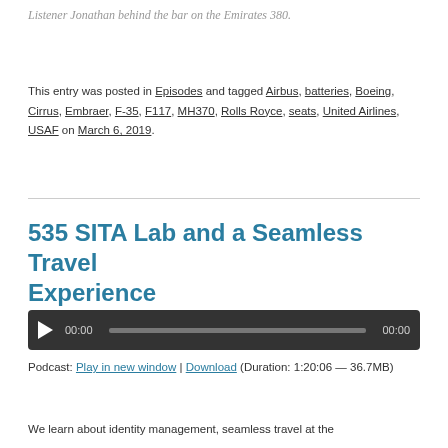Listener Jonathan behind the bar on the Emirates 380.
This entry was posted in Episodes and tagged Airbus, batteries, Boeing, Cirrus, Embraer, F-35, F117, MH370, Rolls Royce, seats, United Airlines, USAF on March 6, 2019.
535 SITA Lab and a Seamless Travel Experience
[Figure (other): Audio player with play button, time display 00:00, progress bar, and end time 00:00 on dark background]
Podcast: Play in new window | Download (Duration: 1:20:06 — 36.7MB)
We learn about identity management, seamless travel at the